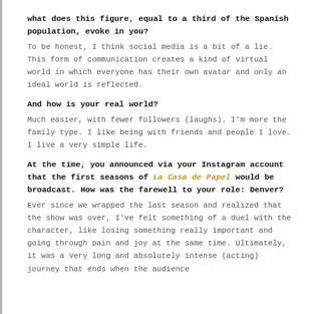what does this figure, equal to a third of the Spanish population, evoke in you?
To be honest, I think social media is a bit of a lie. This form of communication creates a kind of virtual world in which everyone has their own avatar and only an ideal world is reflected.
And how is your real world?
Much easier, with fewer followers (laughs). I'm more the family type. I like being with friends and people I love. I live a very simple life.
At the time, you announced via your Instagram account that the first seasons of La Casa de Papel would be broadcast. How was the farewell to your role: Denver?
Ever since we wrapped the last season and realized that the show was over, I've felt something of a duel with the character, like losing something really important and going through pain and joy at the same time. Ultimately, it was a very long and absolutely intense (acting) journey that ends when the audience